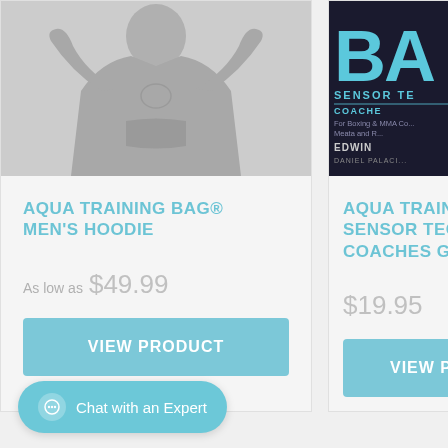[Figure (photo): Person wearing gray hoodie, cropped view showing torso and arms raised]
AQUA TRAINING BAG® MEN'S HOODIE
As low as $49.99
VIEW PRODUCT
[Figure (photo): Dark book cover with cyan text reading BA SENSOR TE COACHE for Boxing MMA by EDWIN DANIEL PALACI]
AQUA TRAINING SENSOR TECH COACHES GUID
$19.95
VIEW PRO
Chat with an Expert